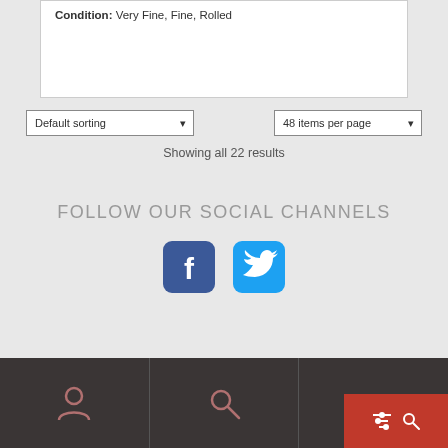Condition: Very Fine, Fine, Rolled
Default sorting
48 items per page
Showing all 22 results
FOLLOW OUR SOCIAL CHANNELS
[Figure (logo): Facebook and Twitter social media icons]
[Figure (infographic): Bottom navigation bar with person icon, search icon, and red filter/search button]